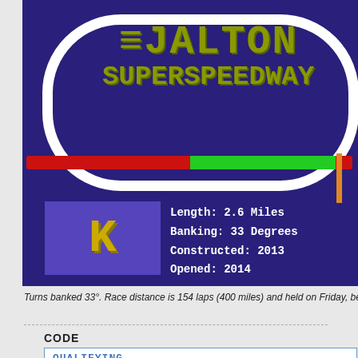[Figure (illustration): Jalton Superspeedway track illustration with oval track layout, green start/finish line, orange marker, logo with stylized K, and track specs: Length 2.6 Miles, Banking 33 Degrees, Constructed 2013, Opened 2014]
Turns banked 33°. Race distance is 154 laps (400 miles) and held on Friday, before the
CODE
QUALIFYING
1 Gavin Ogden   50.728
2 Vern Kleiber   50.743
3 Annabelle Grace Melanie Ioranne Quiroga   50.750